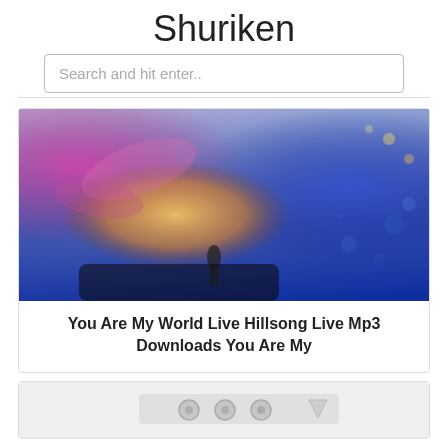Shuriken
Search and hit enter..
[Figure (photo): A female singer performing live on stage, holding a microphone, with colorful stage lighting in pink, purple, and blue. The singer has light-colored hair and appears to be singing passionately.]
You Are My World Live Hillsong Live Mp3 Downloads You Are My
[Figure (photo): Partial view of what appears to be audio/music equipment, possibly a mixer or controller, shown in a light/white color scheme.]